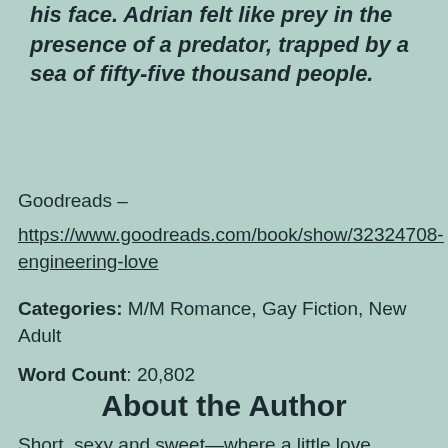his face. Adrian felt like prey in the presence of a predator, trapped by a sea of fifty-five thousand people.
Goodreads – https://www.goodreads.com/book/show/32324708-engineering-love
Categories: M/M Romance, Gay Fiction, New Adult
Word Count: 20,802
About the Author
Short, sexy and sweet—where a little love